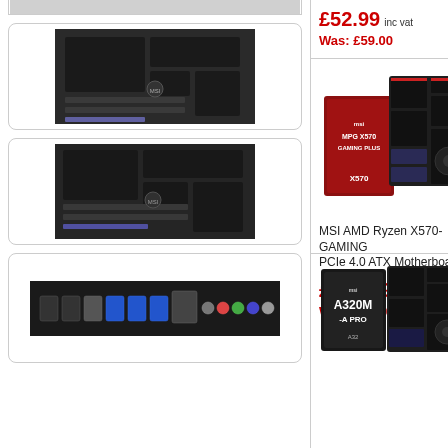[Figure (photo): Thumbnail of MSI ATX motherboard (black PCB), top-down view, in rounded rectangle box]
[Figure (photo): Thumbnail of MSI ATX motherboard (black PCB), top-down view, in rounded rectangle box]
[Figure (photo): Thumbnail of MSI ATX motherboard (black PCB), top-down view, in rounded rectangle box]
[Figure (photo): Thumbnail showing rear I/O panel ports of a motherboard (USB, audio, ethernet connectors)]
£52.99 inc vat
Was: £59.00
[Figure (photo): MSI MPG X570 GAMING PLUS box and motherboard product image]
MSI AMD Ryzen X570-GAMING PCIe 4.0 ATX Motherboard
£149.99 inc vat
Was: £199.00
[Figure (photo): MSI A320M-A PRO box and motherboard product image (partial, bottom of page)]